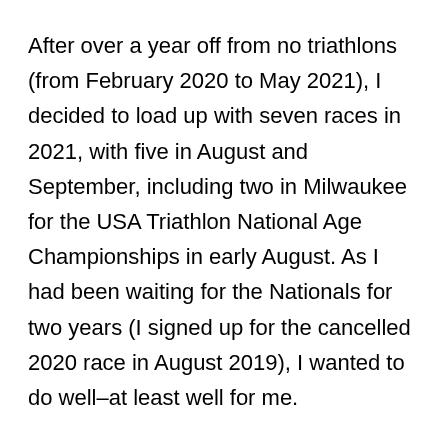After over a year off from no triathlons (from February 2020 to May 2021), I decided to load up with seven races in 2021, with five in August and September, including two in Milwaukee for the USA Triathlon National Age Championships in early August. As I had been waiting for the Nationals for two years (I signed up for the cancelled 2020 race in August 2019), I wanted to do well–at least well for me.
I wanted one last prep race before the Nationals, so I signed up for a Saturday sprint triathlon in Springfield, Illinois. As Springfield is about 90 miles